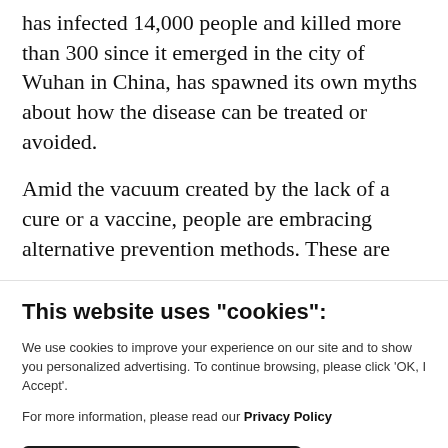has infected 14,000 people and killed more than 300 since it emerged in the city of Wuhan in China, has spawned its own myths about how the disease can be treated or avoided.
Amid the vacuum created by the lack of a cure or a vaccine, people are embracing alternative prevention methods. These are
This website uses "cookies":
We use cookies to improve your experience on our site and to show you personalized advertising. To continue browsing, please click ‘OK, I Accept’.
For more information, please read our Privacy Policy
Ok, I Accept